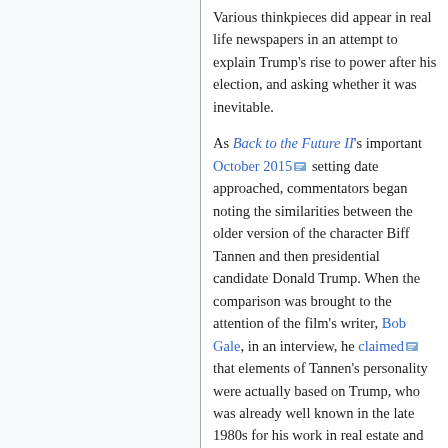Various thinkpieces did appear in real life newspapers in an attempt to explain Trump's rise to power after his election, and asking whether it was inevitable.

As Back to the Future II's important October 2015 [archive] setting date approached, commentators began noting the similarities between the older version of the character Biff Tannen and then presidential candidate Donald Trump. When the comparison was brought to the attention of the film's writer, Bob Gale, in an interview, he claimed [archive] that elements of Tannen's personality were actually based on Trump, who was already well known in the late 1980s for his work in real estate and tabloid...